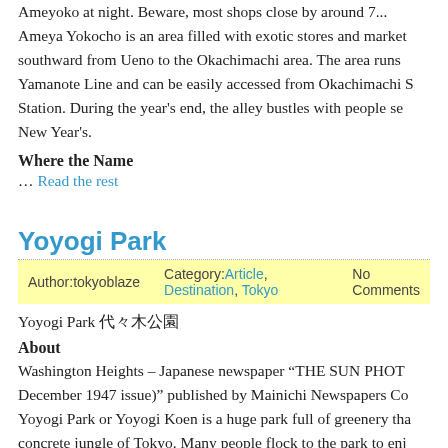Ameyoko at night. Beware, most shops close by around 7... Ameya Yokocho is an area filled with exotic stores and markets southward from Ueno to the Okachimachi area. The area runs along Yamanote Line and can be easily accessed from Okachimachi Station. During the year's end, the alley bustles with people se... New Year's.
Where the Name
… Read the rest
Yoyogi Park
Author:tokyoblaze   Category: Article, Destination, Tokyo   No Comments
Yoyogi Park 代々木公園
About
Washington Heights – Japanese newspaper "THE SUN PHOTO December 1947 issue)" published by Mainichi Newspapers Co... Yoyogi Park or Yoyogi Koen is a huge park full of greenery tha... concrete jungle of Tokyo. Many people flock to the park to enj...